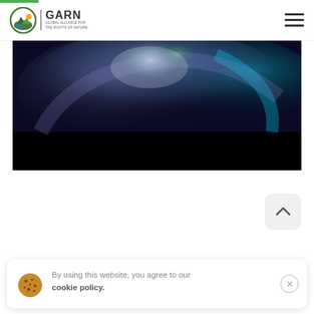GARN - Global Alliance for the Rights of Nature
[Figure (photo): Abstract swirling image resembling aurora borealis or Earth from space, with blue, green, and purple tones against a dark background.]
By using this website, you agree to our cookie policy.